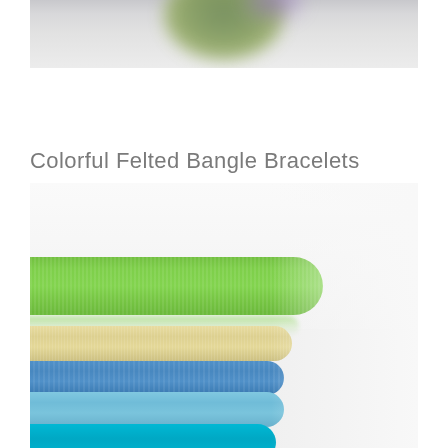[Figure (photo): Top partial photo showing a blurred felted wool object (green and purple tones) against a light grey/white background]
Colorful Felted Bangle Bracelets
[Figure (photo): Photo of stacked colorful felted bangle bracelets in green, cream/yellow, medium blue, light blue, and turquoise colors against a white background]